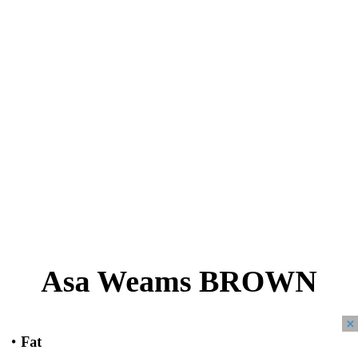Asa Weams BROWN
[Figure (other): fold3 by ancestry Military Records advertisement banner with Search Now button]
Fat...